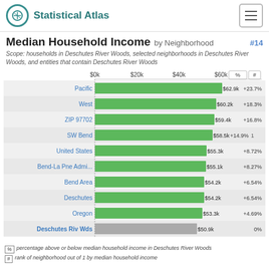Statistical Atlas
Median Household Income by Neighborhood #14
Scope: households in Deschutes River Woods, selected neighborhoods in Deschutes River Woods, and entities that contain Deschutes River Woods
[Figure (bar-chart): Median Household Income by Neighborhood]
% percentage above or below median household income in Deschutes River Woods
# rank of neighborhood out of 1 by median household income
Six-Figure Incomes by Neighborhood
Percentage of households with income…